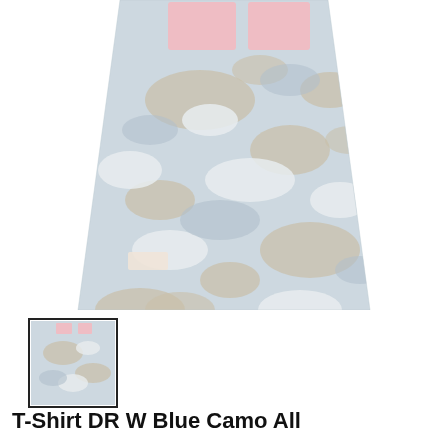[Figure (photo): Close-up of the lower portion of a women's fitted t-shirt in a blue/grey camouflage pattern with light pink rectangular graphic blocks near the top (chest area). The shirt tapers at the waist and has a small brand label patch visible on the lower left side.]
[Figure (photo): Small thumbnail swatch image of the same blue camo t-shirt, shown as a small square with a thin black border outline.]
T-Shirt DR W Blue Camo All